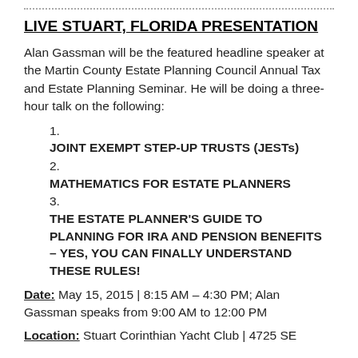LIVE STUART, FLORIDA PRESENTATION
Alan Gassman will be the featured headline speaker at the Martin County Estate Planning Council Annual Tax and Estate Planning Seminar. He will be doing a three-hour talk on the following:
1. JOINT EXEMPT STEP-UP TRUSTS (JESTs)
2. MATHEMATICS FOR ESTATE PLANNERS
3. THE ESTATE PLANNER'S GUIDE TO PLANNING FOR IRA AND PENSION BENEFITS – YES, YOU CAN FINALLY UNDERSTAND THESE RULES!
Date: May 15, 2015 | 8:15 AM – 4:30 PM; Alan Gassman speaks from 9:00 AM to 12:00 PM
Location: Stuart Corinthian Yacht Club | 4725 SE